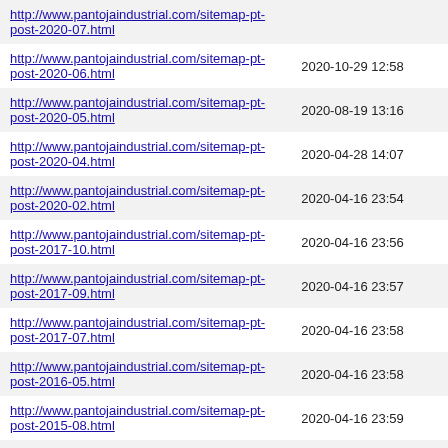| URL | Last Modified |
| --- | --- |
| http://www.pantojaindustrial.com/sitemap-pt-post-2020-07.html |  |
| http://www.pantojaindustrial.com/sitemap-pt-post-2020-06.html | 2020-10-29 12:58 |
| http://www.pantojaindustrial.com/sitemap-pt-post-2020-05.html | 2020-08-19 13:16 |
| http://www.pantojaindustrial.com/sitemap-pt-post-2020-04.html | 2020-04-28 14:07 |
| http://www.pantojaindustrial.com/sitemap-pt-post-2020-02.html | 2020-04-16 23:54 |
| http://www.pantojaindustrial.com/sitemap-pt-post-2017-10.html | 2020-04-16 23:56 |
| http://www.pantojaindustrial.com/sitemap-pt-post-2017-09.html | 2020-04-16 23:57 |
| http://www.pantojaindustrial.com/sitemap-pt-post-2017-07.html | 2020-04-16 23:58 |
| http://www.pantojaindustrial.com/sitemap-pt-post-2016-05.html | 2020-04-16 23:58 |
| http://www.pantojaindustrial.com/sitemap-pt-post-2015-08.html | 2020-04-16 23:59 |
| http://www.pantojaindustrial.com/sitemap-pt-post-2015-07.html | 2020-04-18 19:44 |
| http://www.pantojaindustrial.com/sitemap-pt-post-2015-03.html | 2020-04-18 18:43 |
| http://www.pantojaindustrial.com/sitemap-pt-post-2015-02.html | 2020-04-18 18:43 |